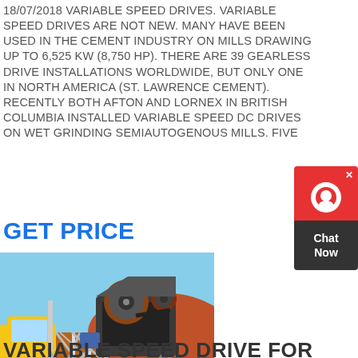18/07/2018 VARIABLE SPEED DRIVES. VARIABLE SPEED DRIVES ARE NOT NEW. MANY HAVE BEEN USED IN THE CEMENT INDUSTRY ON MILLS DRAWING UP TO 6,525 KW (8,750 HP). THERE ARE 39 GEARLESS DRIVE INSTALLATIONS WORLDWIDE, BUT ONLY ONE IN NORTH AMERICA (ST. LAWRENCE CEMENT). RECENTLY BOTH AFTON AND LORNEX IN BRITISH COLUMBIA INSTALLED VARIABLE SPEED DC DRIVES ON WET GRINDING SEMIAUTOGENOUS MILLS. FIVE
GET PRICE
[Figure (photo): Outdoor photo of a jaw crusher / mining equipment mounted on a metal frame structure, with a yellow truck visible on the left side, set against a rocky terrain and blue sky background.]
VARIABLE SPEED DRIVE FOR